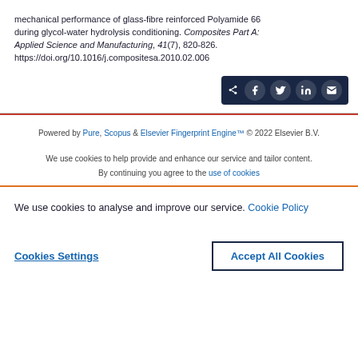mechanical performance of glass-fibre reinforced Polyamide 66 during glycol-water hydrolysis conditioning. Composites Part A: Applied Science and Manufacturing, 41(7), 820-826. https://doi.org/10.1016/j.compositesa.2010.02.006
[Figure (other): Social share button group with icons for Facebook, Twitter, LinkedIn, and email on dark navy background]
Powered by Pure, Scopus & Elsevier Fingerprint Engine™ © 2022 Elsevier B.V.
We use cookies to help provide and enhance our service and tailor content. By continuing you agree to the use of cookies
We use cookies to analyse and improve our service. Cookie Policy
Cookies Settings
Accept All Cookies